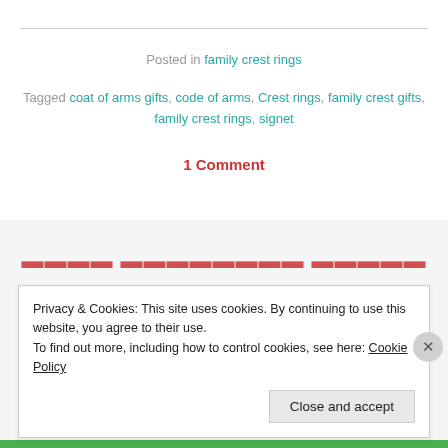Posted in family crest rings
Tagged coat of arms gifts, code of arms, Crest rings, family crest gifts, family crest rings, signet
1 Comment
Privacy & Cookies: This site uses cookies. By continuing to use this website, you agree to their use.
To find out more, including how to control cookies, see here: Cookie Policy
Close and accept